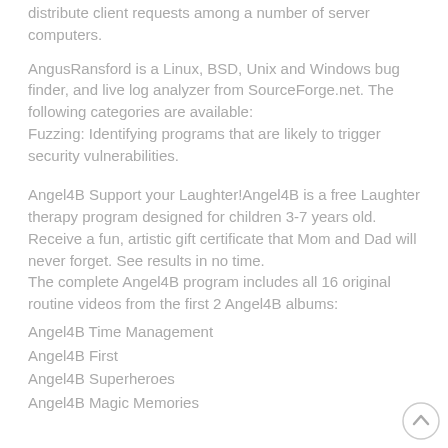distribute client requests among a number of server computers.
AngusRansford is a Linux, BSD, Unix and Windows bug finder, and live log analyzer from SourceForge.net. The following categories are available:
Fuzzing: Identifying programs that are likely to trigger security vulnerabilities.
Angel4B Support your Laughter!Angel4B is a free Laughter therapy program designed for children 3-7 years old. Receive a fun, artistic gift certificate that Mom and Dad will never forget. See results in no time.
The complete Angel4B program includes all 16 original routine videos from the first 2 Angel4B albums:
Angel4B Time Management
Angel4B First
Angel4B Superheroes
Angel4B Magic Memories